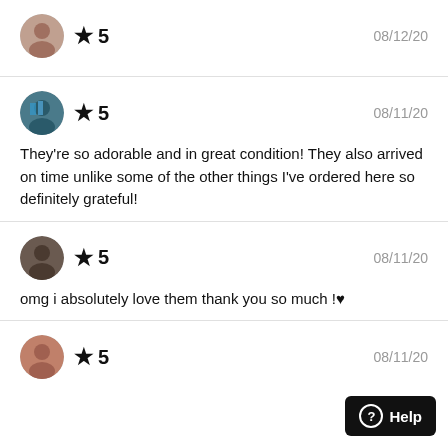★ 5   08/12/20
★ 5   08/11/20
They're so adorable and in great condition! They also arrived on time unlike some of the other things I've ordered here so definitely grateful!
★ 5   08/11/20
omg i absolutely love them thank you so much !♥
★ 5   08/11/20
Help